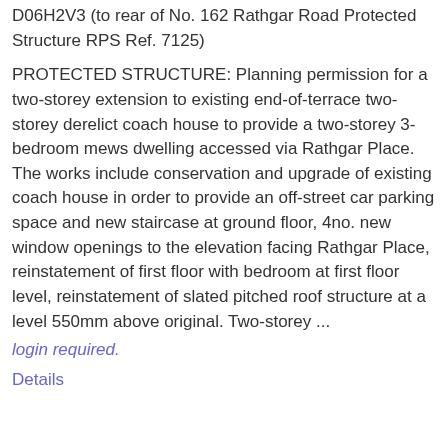D06H2V3 (to rear of No. 162 Rathgar Road Protected Structure RPS Ref. 7125)
PROTECTED STRUCTURE: Planning permission for a two-storey extension to existing end-of-terrace two-storey derelict coach house to provide a two-storey 3-bedroom mews dwelling accessed via Rathgar Place. The works include conservation and upgrade of existing coach house in order to provide an off-street car parking space and new staircase at ground floor, 4no. new window openings to the elevation facing Rathgar Place, reinstatement of first floor with bedroom at first floor level, reinstatement of slated pitched roof structure at a level 550mm above original. Two-storey ...
login required.
Details